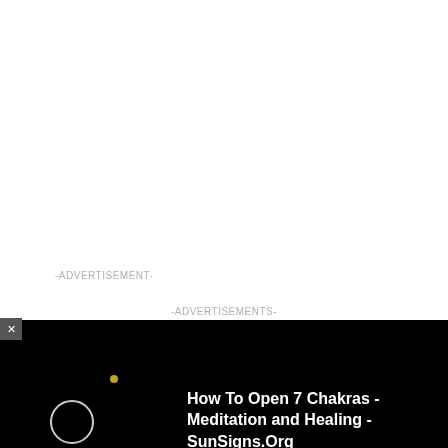-ADVERTISEMENT-
[Figure (screenshot): Advertisement banner with black background showing a circular moon/planet image on the left and text 'How To Open 7 Chakras - Meditation and Healing - SunSigns.Org' on the right in white bold font. A close (x) button is visible at the top left of the banner. A small gold dot appears near the image.]
-ADVERTISEMENTS-
The Aries Sun people have a quick temper and can burn bridges if they're not careful. But they also can forgive and forget. So, if you confront them and argue your point, they will listen.